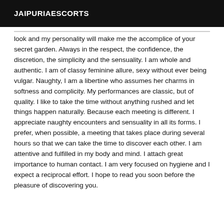JAIPURIAESCORTS
look and my personality will make me the accomplice of your secret garden. Always in the respect, the confidence, the discretion, the simplicity and the sensuality. I am whole and authentic. I am of classy feminine allure, sexy without ever being vulgar. Naughty, I am a libertine who assumes her charms in softness and complicity. My performances are classic, but of quality. I like to take the time without anything rushed and let things happen naturally. Because each meeting is different. I appreciate naughty encounters and sensuality in all its forms. I prefer, when possible, a meeting that takes place during several hours so that we can take the time to discover each other. I am attentive and fulfilled in my body and mind. I attach great importance to human contact. I am very focused on hygiene and I expect a reciprocal effort. I hope to read you soon before the pleasure of discovering you.